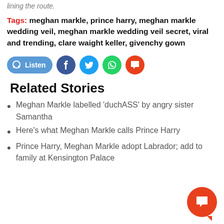lining the route.
Tags: meghan markle, prince harry, meghan markle wedding veil, meghan markle wedding veil secret, viral and trending, clare waight keller, givenchy gown
[Figure (infographic): Social sharing bar with Listen button (blue pill), Facebook (blue circle), Twitter (blue circle), WhatsApp (green circle), and comment (orange-red circle) icons]
Related Stories
Meghan Markle labelled 'duchASS' by angry sister Samantha
Here's what Meghan Markle calls Prince Harry
Prince Harry, Meghan Markle adopt Labrador; add to family at Kensington Palace